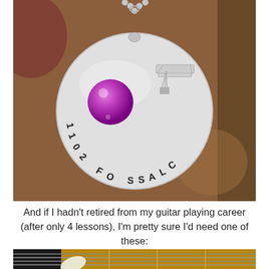[Figure (photo): Close-up photo of a silver coin necklace pendant on a brown leather background. The pendant reads 'CLASS OF 2011' and has a purple/pink bead and a small graduation cap charm attached.]
And if I hadn't retired from my guitar playing career (after only 4 lessons), I'm pretty sure I'd need one of these:
[Figure (photo): Partial photo showing a guitar neck/strings and a guitar pick at the bottom of the page.]